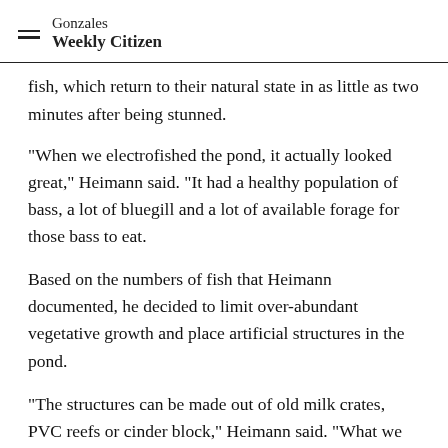Gonzales Weekly Citizen
fish, which return to their natural state in as little as two minutes after being stunned.
"When we electrofished the pond, it actually looked great," Heimann said. "It had a healthy population of bass, a lot of bluegill and a lot of available forage for those bass to eat.
Based on the numbers of fish that Heimann documented, he decided to limit over-abundant vegetative growth and place artificial structures in the pond.
"The structures can be made out of old milk crates, PVC reefs or cinder block," Heimann said. "What we want is something along the shoreline